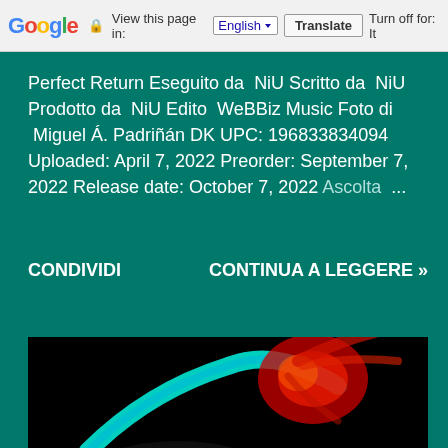Google | View this page in: English [▼] | Translate | Turn off for: It
Perfect Return Eseguito da NiU Scritto da NiU Prodotto da NiU Edito WeBBiz Music Foto di Miguel Á. Padriñán DK UPC: 196833834094 Uploaded: April 7, 2022 Preorder: September 7, 2022 Release date: October 7, 2022 Ascolta ...
CONDIVIDI   CONTINUA A LEGGERE »
[Figure (photo): Dark artistic photo with cyan and red light streaks against a black background, resembling a concert or abstract light photography.]